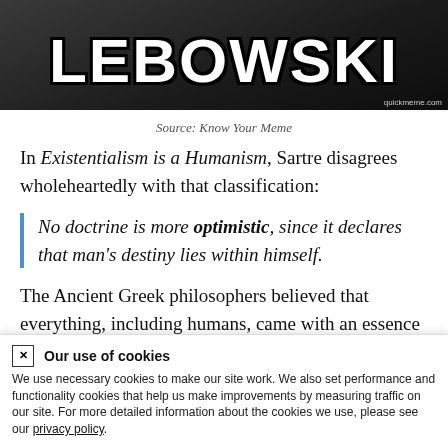[Figure (photo): Dark meme image with large bold white Impact font text reading LEBOWSKI, with watermark quickmeme.com]
Source: Know Your Meme
In Existentialism is a Humanism, Sartre disagrees wholeheartedly with that classification:
No doctrine is more optimistic, since it declares that man's destiny lies within himself.
The Ancient Greek philosophers believed that everything, including humans, came with an essence pre-installed. Essence, and then existence. In
Our use of cookies — We use necessary cookies to make our site work. We also set performance and functionality cookies that help us make improvements by measuring traffic on our site. For more detailed information about the cookies we use, please see our privacy policy.